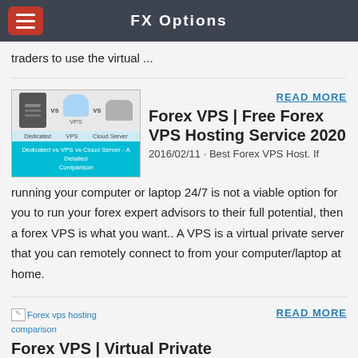FX Options
traders to use the virtual …
[Figure (illustration): Dedicated vs VPS vs Cloud Server - A Detailed Comparison illustration showing server icons]
READ MORE
Forex VPS | Free Forex VPS Hosting Service 2020
2016/02/11 · Best Forex VPS Host. If running your computer or laptop 24/7 is not a viable option for you to run your forex expert advisors to their full potential, then a forex VPS is what you want.. A VPS is a virtual private server that you can remotely connect to from your computer/laptop at home.
[Figure (illustration): Forex vps hosting comparison - broken image]
READ MORE
Forex VPS | Virtual Private Server - IC Markets
VPS stands for virtual private server – a virtual computer that you